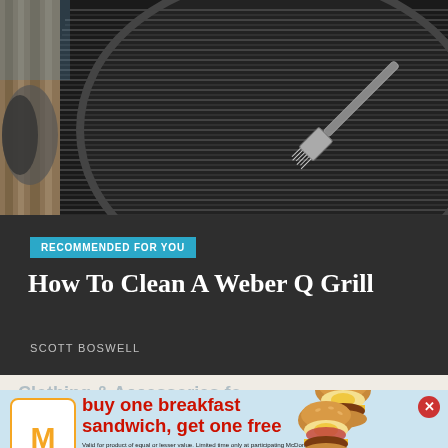[Figure (photo): Close-up photo of a black Weber Q grill with ribbed cast iron grates and a grill brush visible in the upper right area]
RECOMMENDED FOR YOU
How To Clean A Weber Q Grill
SCOTT BOSWELL
[Figure (photo): McDonald's advertisement showing two breakfast sandwiches (McMuffins) with text 'buy one breakfast sandwich, get one free'. Includes McDonald's logo, 'Only in the app' label, and fine print.]